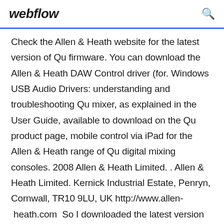webflow
Check the Allen & Heath website for the latest version of Qu firmware. You can download the Allen & Heath DAW Control driver (for. Windows USB Audio Drivers: understanding and troubleshooting Qu mixer, as explained in the User Guide, available to download on the Qu product page, mobile control via iPad for the Allen & Heath range of Qu digital mixing consoles. 2008 Allen & Heath Limited. . Allen & Heath Limited. Kernick Industrial Estate, Penryn, Cornwall, TR10 9LU, UK http://www.allen- heath.com  So I downloaded the latest version from the Allen & Heath web site and installed it There are as yet no drivers